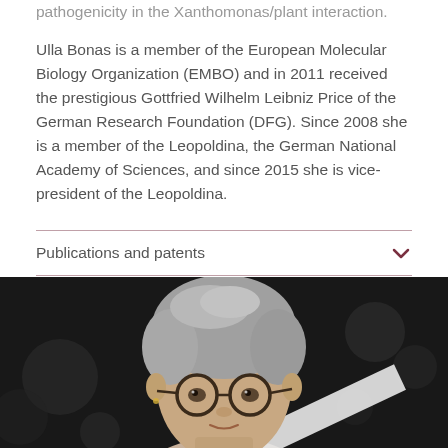pathogenicity in the Xanthomonas/plant interaction.
Ulla Bonas is a member of the European Molecular Biology Organization (EMBO) and in 2011 received the prestigious Gottfried Wilhelm Leibniz Price of the German Research Foundation (DFG). Since 2008 she is a member of the Leopoldina, the German National Academy of Sciences, and since 2015 she is vice-president of the Leopoldina.
Publications and patents
[Figure (photo): Portrait photo of a woman with short grey hair wearing round glasses, photographed against a dark bokeh background.]